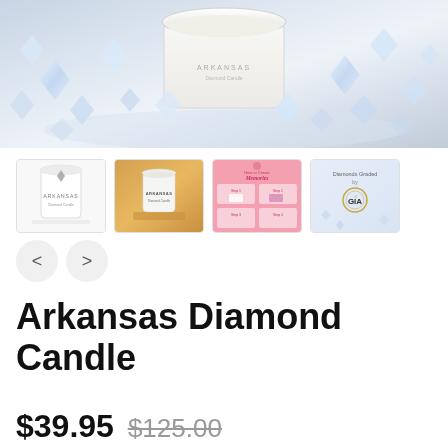[Figure (photo): Main product photo: white candle jar surrounded by scattered diamonds/crystals on a light reflective surface]
[Figure (photo): Thumbnail 1: White candle jar with Arkansas label on white background]
[Figure (photo): Thumbnail 2: White Arkansas candle jar on wooden surface with warm golden background]
[Figure (photo): Thumbnail 3: Pink infographic showing how to create memories instructions in grid layout]
[Figure (photo): Thumbnail 4: Diamonds Graded by GIA - text on light blue background with diamond imagery]
Arkansas Diamond Candle
$39.95  $125.00